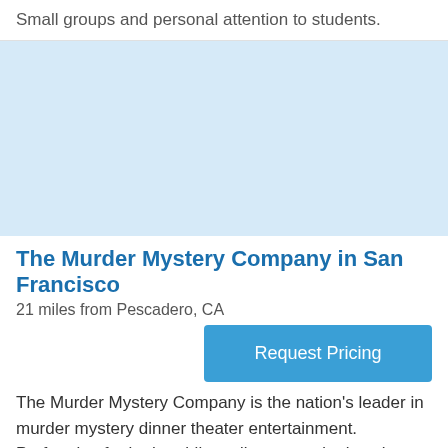Small groups and personal attention to students.
[Figure (other): Light blue placeholder image block]
The Murder Mystery Company in San Francisco
21 miles from Pescadero, CA
Request Pricing
The Murder Mystery Company is the nation's leader in murder mystery dinner theater entertainment. Performing for both public audiences and privately hosted events in San Francisco and surrounding areas, we bring live entertainment with our